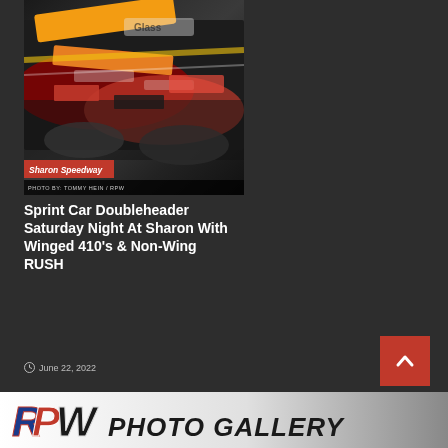[Figure (photo): Close-up photo of sprint car racing vehicles with colorful sponsor decals and graphics at Sharon Speedway, photo credit to Tommy Hein / RPW]
Sharon Speedway
PHOTO BY: TOMMY HEIN / RPW
Sprint Car Doubleheader Saturday Night At Sharon With Winged 410's & Non-Wing RUSH
June 22, 2022
[Figure (logo): RPW Photo Gallery banner with RPW logo and PHOTO GALLERY text]